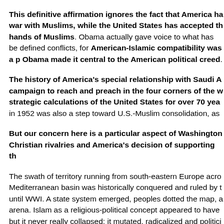This definitive affirmation ignores the fact that America has been at war with Muslims, while the United States has accepted the hands of Muslims. Obama actually gave voice to what has been defined conflicts, for American-Islamic compatibility was a premise, Obama made it central to the American political creed.
The history of America's special relationship with Saudi Arabia's campaign to reach and preach in the four corners of the world, strategic calculations of the United States for over 70 years in 1952 was also a step toward U.S.-Muslim consolidation, as
But our concern here is a particular aspect of Washington's Christian rivalries and America's decision of supporting th
The swath of territory running from south-eastern Europe across the Mediterranean basin was historically conquered and ruled by the until WWI. A state system emerged, peoples dotted the map, and arena. Islam as a religious-political concept appeared to have but it never really collapsed; it mutated, radicalized and politici